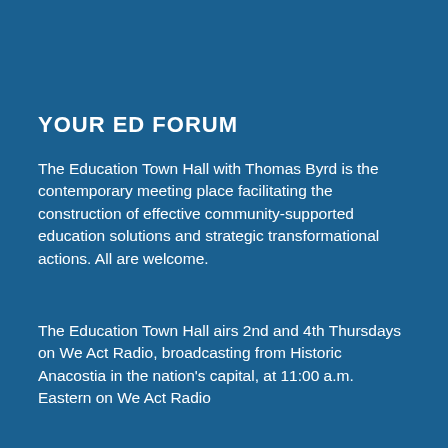YOUR ED FORUM
The Education Town Hall with Thomas Byrd is the contemporary meeting place facilitating the construction of effective community-supported education solutions and strategic transformational actions. All are welcome.
The Education Town Hall airs 2nd and 4th Thursdays on We Act Radio, broadcasting from Historic Anacostia in the nation's capital, at 11:00 a.m. Eastern on We Act Radio